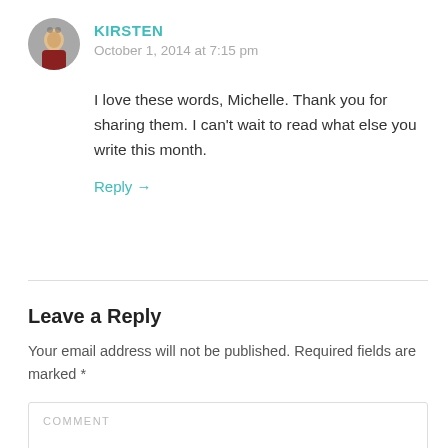KIRSTEN
October 1, 2014 at 7:15 pm
I love these words, Michelle. Thank you for sharing them. I can't wait to read what else you write this month.
Reply →
Leave a Reply
Your email address will not be published. Required fields are marked *
COMMENT